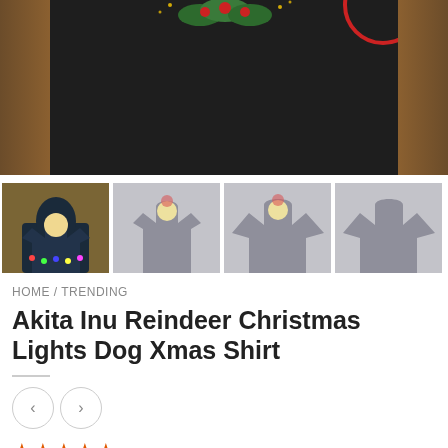[Figure (photo): Main product image showing a dark t-shirt with Christmas decorations including holly and lights on a wooden background]
[Figure (photo): Four thumbnail images of the Akita Inu Christmas shirt product in different views/styles]
HOME / TRENDING
Akita Inu Reindeer Christmas Lights Dog Xmas Shirt
[Figure (other): Navigation arrows left and right in circle buttons]
★★★★★
$26.99  $22.99